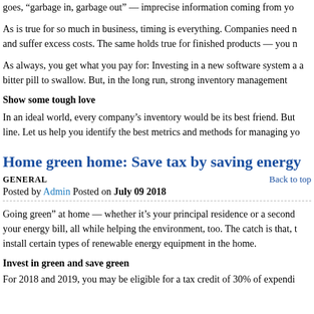goes,  garbage in, garbage out  — imprecise information coming from yo
As is true for so much in business, timing is everything. Companies need n and suffer excess costs. The same holds true for finished products — you n
As always, you get what you pay for: Investing in a new software system a a bitter pill to swallow. But, in the long run, strong inventory management
Show some tough love
In an ideal world, every company's inventory would be its best friend. But line. Let us help you identify the best metrics and methods for managing yo
Home green home: Save tax by saving energy
GENERAL    Back to top
Posted by Admin Posted on July 09 2018
Going green" at home — whether it's your principal residence or a second your energy bill, all while helping the environment, too. The catch is that, t install certain types of renewable energy equipment in the home.
Invest in green and save green
For 2018 and 2019, you may be eligible for a tax credit of 30% of expendi